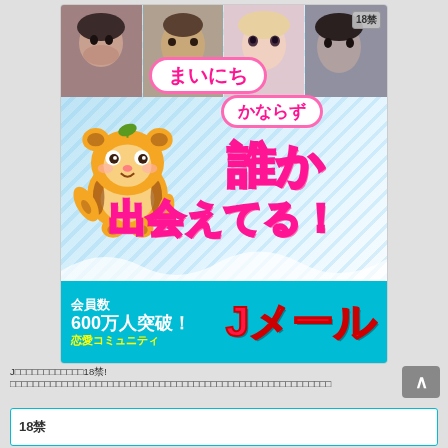[Figure (illustration): Japanese mobile dating app advertisement 'Jメール' (J-mail). Top portion shows photo strip with 4 people's faces. Center has a cute cartoon tanuki/raccoon mascot character in yellow-orange. Large pink Japanese text reads まいにち (every day), かならず (certainly), 誰か (someone), 出会える! (can meet!). Bottom blue banner shows 会員数600万人突破！恋愛コミュニティ Jメール (Over 6 million members! Romance community J-mail). 18禁 (18+ restricted) badge in top right.]
Jメール - 18禁のコミュニティアプリ。まいにちかならず誰かと出会えるサービス。会員数600万人突破！恋愛コミュニティ
18禁